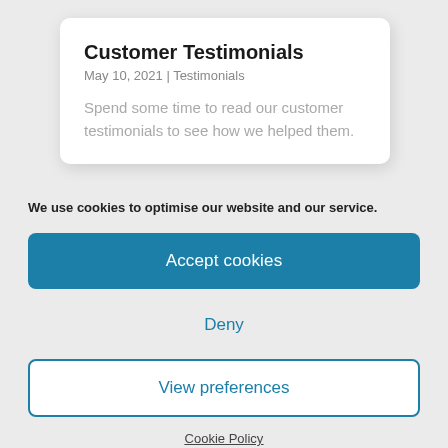Customer Testimonials
May 10, 2021 | Testimonials
Spend some time to read our customer testimonials to see how we helped them.
We use cookies to optimise our website and our service.
Accept cookies
Deny
View preferences
Cookie Policy